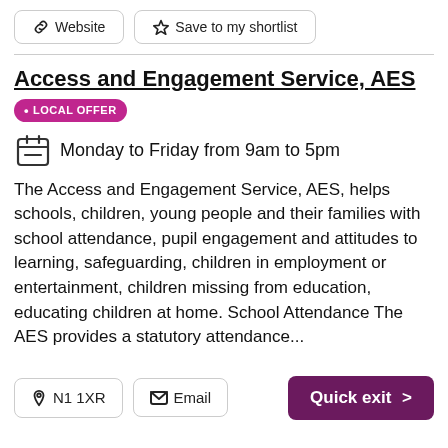Website  Save to my shortlist
Access and Engagement Service, AES • LOCAL OFFER
Monday to Friday from 9am to 5pm
The Access and Engagement Service, AES, helps schools, children, young people and their families with school attendance, pupil engagement and attitudes to learning, safeguarding, children in employment or entertainment, children missing from education, educating children at home. School Attendance The AES provides a statutory attendance...
N1 1XR  Email  Quick exit >